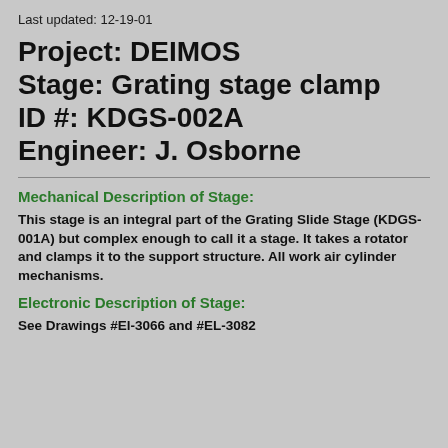Last updated: 12-19-01
Project: DEIMOS
Stage: Grating stage clamp
ID #: KDGS-002A
Engineer: J. Osborne
Mechanical Description of Stage:
This stage is an integral part of the Grating Slide Stage (KDGS-001A) but complex enough to call it a stage.  It takes a rotator and clamps it to the support structure. All work air cylinder mechanisms.
Electronic Description of Stage:
See Drawings #El-3066 and #EL-3082